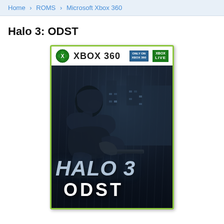Home > ROMS > Microsoft Xbox 360
Halo 3: ODST
[Figure (photo): Xbox 360 game case cover for Halo 3: ODST. Shows a soldier in ODST armor in the rain with taglines NEW HERO, NEW CAMPAIGN, NEW MULTIPLAYER. Xbox 360 header with Xbox Live badge. Game title 'HALO 3 ODST' at the bottom.]